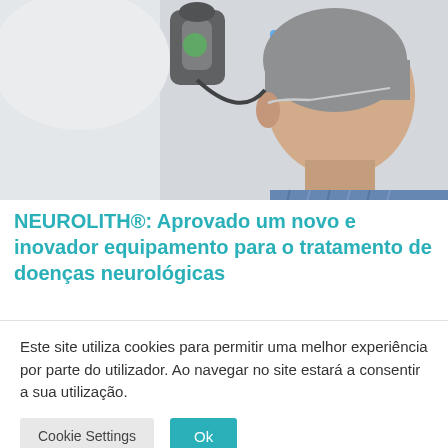[Figure (photo): A medical professional in a white coat holding a device to the head of an elderly male patient with grey hair and glasses, in a clinical setting. The device appears to be a transcranial magnetic stimulation (TMS) or similar neurological treatment device.]
NEUROLITH®: Aprovado um novo e inovador equipamento para o tratamento de doenças neurológicas
Este site utiliza cookies para permitir uma melhor experiência por parte do utilizador. Ao navegar no site estará a consentir a sua utilização.